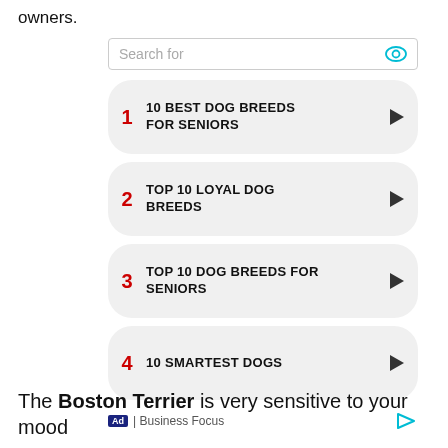owners.
[Figure (screenshot): Search widget with 4 list items about dog breeds. Items: 1. 10 BEST DOG BREEDS FOR SENIORS, 2. TOP 10 LOYAL DOG BREEDS, 3. TOP 10 DOG BREEDS FOR SENIORS, 4. 10 SMARTEST DOGS. Footer shows 'Ad | Business Focus'.]
The Boston Terrier is very sensitive to your mood